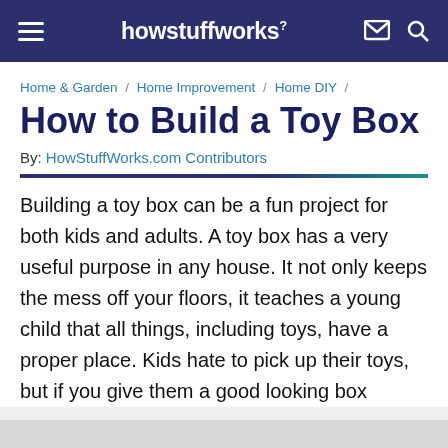howstuffworks
Home & Garden / Home Improvement / Home DIY /
How to Build a Toy Box
By: HowStuffWorks.com Contributors
Building a toy box can be a fun project for both kids and adults. A toy box has a very useful purpose in any house. It not only keeps the mess off your floors, it teaches a young child that all things, including toys, have a proper place. Kids hate to pick up their toys, but if you give them a good looking box